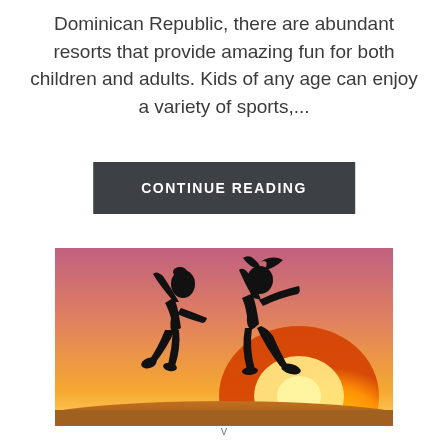Dominican Republic, there are abundant resorts that provide amazing fun for both children and adults. Kids of any age can enjoy a variety of sports,...
CONTINUE READING
[Figure (photo): Two silhouettes of people jumping joyfully against a warm golden sunset sky background]
v